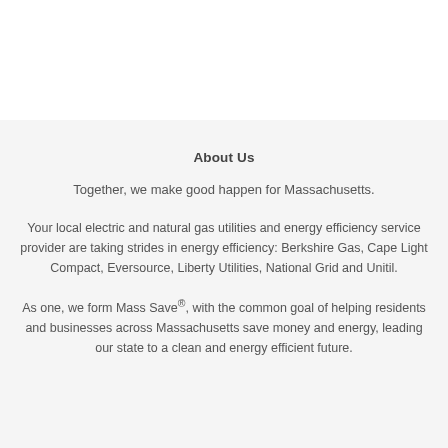About Us
Together, we make good happen for Massachusetts.
Your local electric and natural gas utilities and energy efficiency service provider are taking strides in energy efficiency: Berkshire Gas, Cape Light Compact, Eversource, Liberty Utilities, National Grid and Unitil.
As one, we form Mass Save®, with the common goal of helping residents and businesses across Massachusetts save money and energy, leading our state to a clean and energy efficient future.